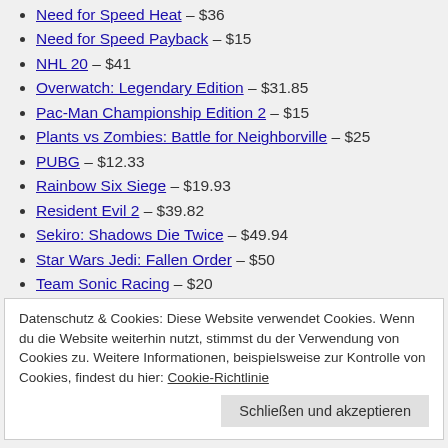Need for Speed Heat – $36
Need for Speed Payback – $15
NHL 20 – $41
Overwatch: Legendary Edition – $31.85
Pac-Man Championship Edition 2 – $15
Plants vs Zombies: Battle for Neighborville – $25
PUBG – $12.33
Rainbow Six Siege – $19.93
Resident Evil 2 – $39.82
Sekiro: Shadows Die Twice – $49.94
Star Wars Jedi: Fallen Order – $50
Team Sonic Racing – $20
The Sims 4 with Island Living – $25
Datenschutz & Cookies: Diese Website verwendet Cookies. Wenn du die Website weiterhin nutzt, stimmst du der Verwendung von Cookies zu. Weitere Informationen, beispielsweise zur Kontrolle von Cookies, findest du hier: Cookie-Richtlinie
Schließen und akzeptieren
WWE 2K20 – $40